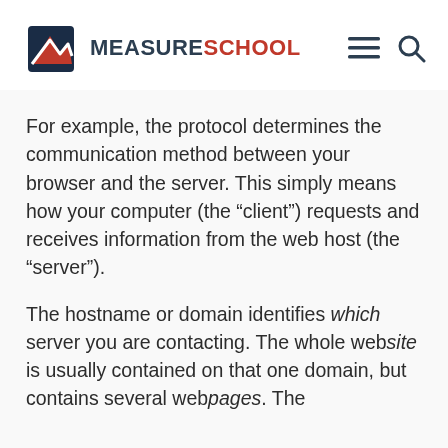MEASURESCHOOL
For example, the protocol determines the communication method between your browser and the server. This simply means how your computer (the “client”) requests and receives information from the web host (the “server”).
The hostname or domain identifies which server you are contacting. The whole website is usually contained on that one domain, but contains several webpages. The